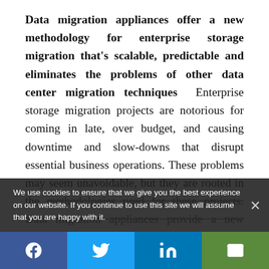Data migration appliances offer a new methodology for enterprise storage migration that's scalable, predictable and eliminates the problems of other data center migration techniques Enterprise storage migration projects are notorious for coming in late, over budget, and causing downtime and slow-downs that disrupt essential business operations. These problems may seem unavoidable, but they are rooted in the methodologies used for these projects. Data migration appliances provide a new approach to migration that eliminates many of
We use cookies to ensure that we give you the best experience on our website. If you continue to use this site we will assume that you are happy with it.